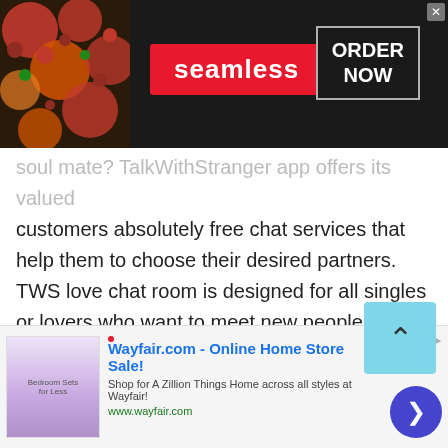[Figure (screenshot): Seamless food delivery advertisement banner with pizza image on left, red Seamless button in center, and ORDER NOW box on right with dark background]
soul mate? TalkWithStranger app offers its valued customers absolutely free chat services that help them to choose their desired partners. TWS love chat room is designed for all singles or lovers who want to meet new people from different countries. Yes, if you choose to talk to Russian Federationns, Indians, Canadians, Germans, hot girls and handsome boys, you are all set to start a free chat now.
You can text strangers or simply start a cam chat to
[Figure (screenshot): Wayfair.com Online Home Store Sale advertisement banner at bottom with bedroom furniture image, ad title, description, URL and navigation arrow]